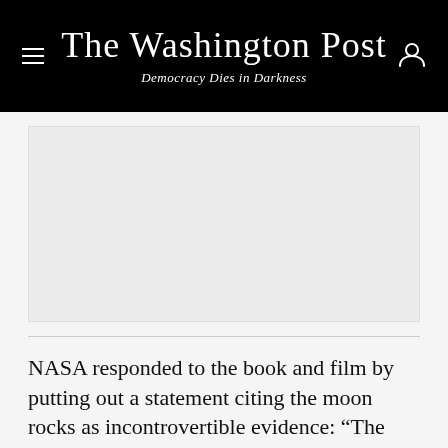The Washington Post
Democracy Dies in Darkness
[Figure (other): Advertisement or image placeholder area, light gray rectangle]
NASA responded to the book and film by putting out a statement citing the moon rocks as incontrovertible evidence: “The rocks and particles, still under study by scientists worldwide, were clearly formed in an